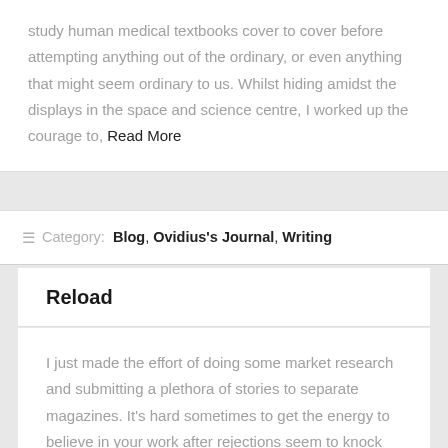study human medical textbooks cover to cover before attempting anything out of the ordinary, or even anything that might seem ordinary to us. Whilst hiding amidst the displays in the space and science centre, I worked up the courage to, Read More
Category: Blog, Ovidius's Journal, Writing
Reload
I just made the effort of doing some market research and submitting a plethora of stories to separate magazines. It's hard sometimes to get the energy to believe in your work after rejections seem to knock you down, but it feels good to stand up and say, “You know what? I’ll get another opinion.”